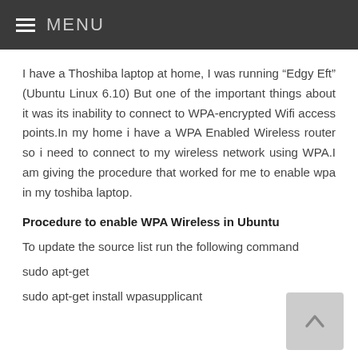≡ MENU
I have a Thoshiba laptop at home, I was running “Edgy Eft” (Ubuntu Linux 6.10) But one of the important things about it was its inability to connect to WPA-encrypted Wifi access points.In my home i have a WPA Enabled Wireless router so i need to connect to my wireless network using WPA.I am giving the procedure that worked for me to enable wpa in my toshiba laptop.
Procedure to enable WPA Wireless in Ubuntu
To update the source list run the following command
sudo apt-get
sudo apt-get install wpasupplicant